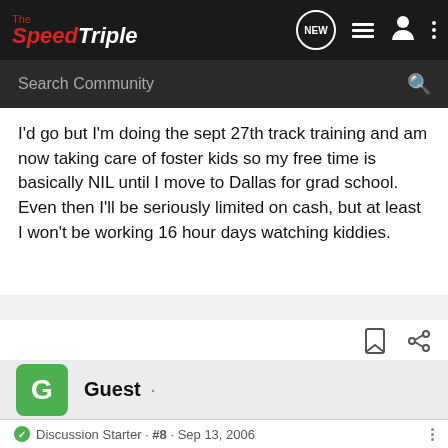The SpeedTriple – Search Community
I'd go but I'm doing the sept 27th track training and am now taking care of foster kids so my free time is basically NIL until I move to Dallas for grad school. Even then I'll be seriously limited on cash, but at least I won't be working 16 hour days watching kiddies.
Guest ·
Discussion Starter · #8 · Sep 13, 2006
I will che … putting this toge … it